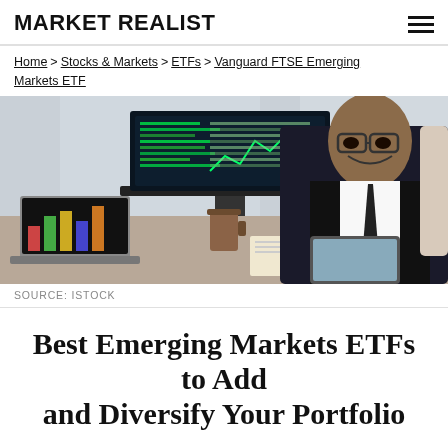MARKET REALIST
Home > Stocks & Markets > ETFs > Vanguard FTSE Emerging Markets ETF
[Figure (photo): A smiling businessman in a dark suit holding a tablet, sitting at a desk with a monitor showing financial charts and a laptop with bar charts visible, in a bright office setting.]
SOURCE: ISTOCK
Best Emerging Markets ETFs to Add and Diversify Your Portfolio